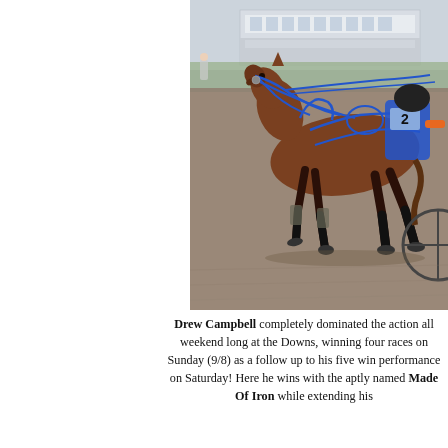[Figure (photo): A harness racing horse (bay/chestnut color) with blue harness and equipment, mid-stride on a dirt track, with a driver wearing a #2 bib. A grandstand building is visible in the background.]
Drew Campbell completely dominated the action all weekend long at the Downs, winning four races on Sunday (9/8) as a follow up to his five win performance on Saturday! Here he wins with the aptly named Made Of Iron while extending his